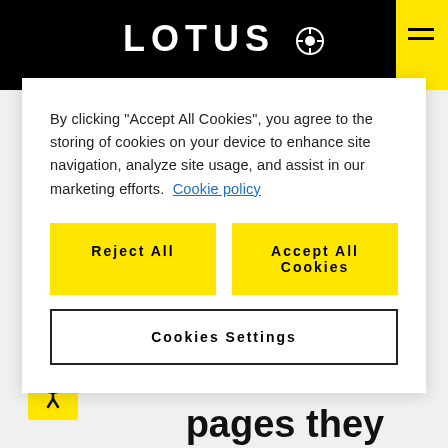LOTUS
By clicking “Accept All Cookies”, you agree to the storing of cookies on your device to enhance site navigation, analyze site usage, and assist in our marketing efforts. Cookie policy
Reject All
Accept All Cookies
Cookies Settings
the site, where visitors have come to the site from and the pages they